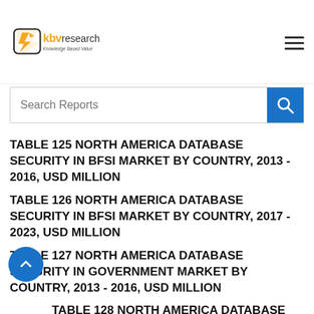KBV Research - Knowledge Based Value
Search Reports
TABLE 125 NORTH AMERICA DATABASE SECURITY IN BFSI MARKET BY COUNTRY, 2013 - 2016, USD MILLION
TABLE 126 NORTH AMERICA DATABASE SECURITY IN BFSI MARKET BY COUNTRY, 2017 - 2023, USD MILLION
TABLE 127 NORTH AMERICA DATABASE SECURITY IN GOVERNMENT MARKET BY COUNTRY, 2013 - 2016, USD MILLION
TABLE 128 NORTH AMERICA DATABASE SECURITY IN GOVERNMENT MARKET BY COUNTRY, 2017 - 2023, USD MILLION
TABLE 129 NORTH AMERICA DATABASE SECURITY